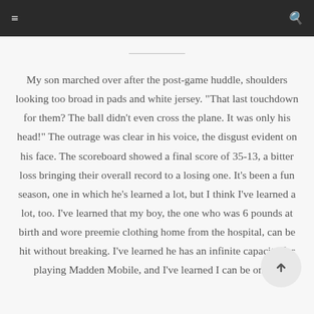≡   🔍
My son marched over after the post-game huddle, shoulders looking too broad in pads and white jersey. "That last touchdown for them? The ball didn't even cross the plane. It was only his head!" The outrage was clear in his voice, the disgust evident on his face. The scoreboard showed a final score of 35-13, a bitter loss bringing their overall record to a losing one. It's been a fun season, one in which he's learned a lot, but I think I've learned a lot, too. I've learned that my boy, the one who was 6 pounds at birth and wore preemie clothing home from the hospital, can be hit without breaking. I've learned he has an infinite capacity for playing Madden Mobile, and I've learned I can be one of